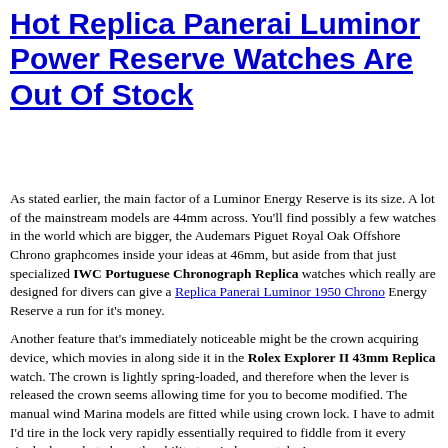Hot Replica Panerai Luminor Power Reserve Watches Are Out Of Stock
As stated earlier, the main factor of a Luminor Energy Reserve is its size. A lot of the mainstream models are 44mm across. You'll find possibly a few watches in the world which are bigger, the Audemars Piguet Royal Oak Offshore Chrono graphcomes inside your ideas at 46mm, but aside from that just specialized IWC Portuguese Chronograph Replica watches which really are designed for divers can give a Replica Panerai Luminor 1950 Chrono Energy Reserve a run for it's money.
Another feature that's immediately noticeable might be the crown acquiring device, which movies in along side it in the Rolex Explorer II 43mm Replica watch. The crown is lightly spring-loaded, and therefore when the lever is released the crown seems allowing time for you to become modified. The manual wind Marina models are fitted while using crown lock. I have to admit I'd tire in the lock very rapidly essentially required to fiddle from it every single day only to have the ability to wind my watch. An...